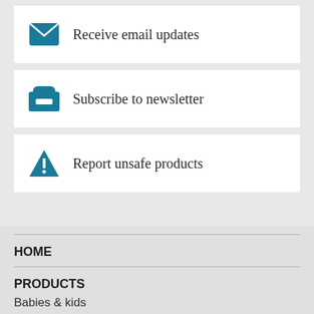Receive email updates
Subscribe to newsletter
Report unsafe products
HOME
PRODUCTS
Babies & kids
Home & living
Health & lifestyle